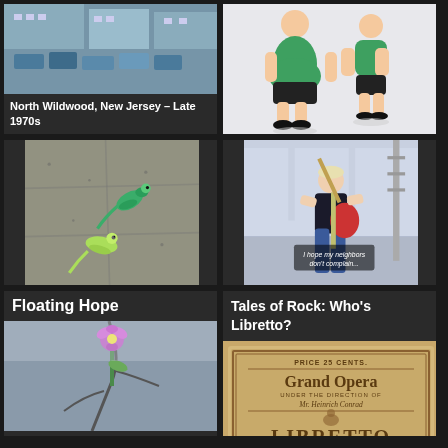[Figure (photo): Aerial/street view of North Wildwood, New Jersey motel/parking area, late 1970s]
North Wildwood, New Jersey – Late 1970s
[Figure (illustration): Illustration of two overweight people standing side by side wearing green shirts and black shorts]
[Figure (photo): Photo of two green parakeets/parrots on concrete ground]
[Figure (photo): Photo of a man playing electric guitar in a room with caption text 'I hope my neighbors don't complain...']
Floating Hope
[Figure (photo): Photo of a purple flower growing through cracked asphalt/pavement]
Tales of Rock: Who's Libretto?
[Figure (photo): Old Grand Opera libretto cover showing 'Price 25 Cents, Grand Opera under the direction of Mr. Heinrich Conrad, Libretto']